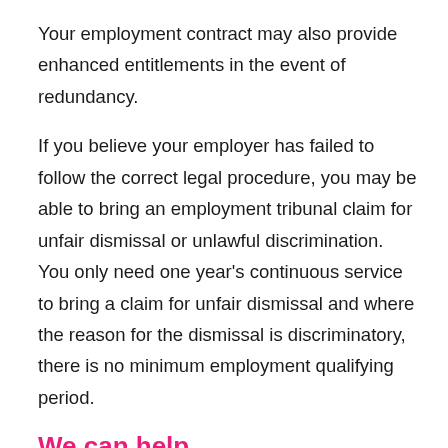Your employment contract may also provide enhanced entitlements in the event of redundancy.
If you believe your employer has failed to follow the correct legal procedure, you may be able to bring an employment tribunal claim for unfair dismissal or unlawful discrimination. You only need one year's continuous service to bring a claim for unfair dismissal and where the reason for the dismissal is discriminatory, there is no minimum employment qualifying period.
We can help